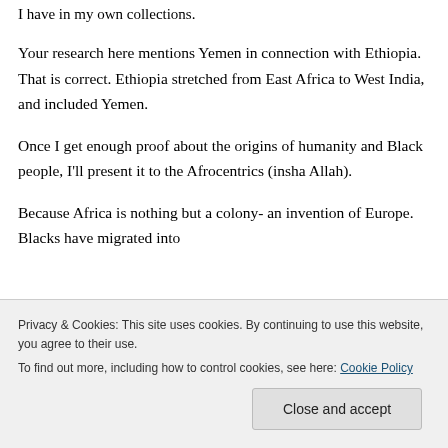I have in my own collections.
Your research here mentions Yemen in connection with Ethiopia. That is correct. Ethiopia stretched from East Africa to West India, and included Yemen.
Once I get enough proof about the origins of humanity and Black people, I'll present it to the Afrocentrics (insha Allah).
Because Africa is nothing but a colony- an invention of Europe. Blacks have migrated into
Privacy & Cookies: This site uses cookies. By continuing to use this website, you agree to their use.
To find out more, including how to control cookies, see here: Cookie Policy